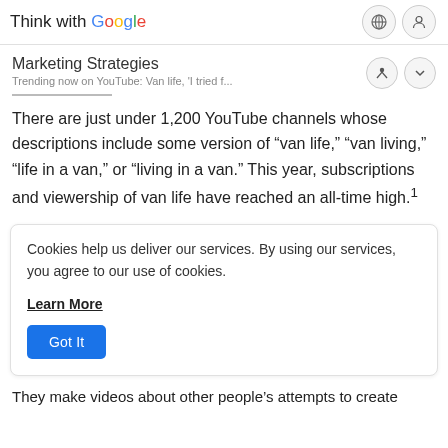Think with Google
Marketing Strategies
Trending now on YouTube: Van life, 'I tried f...
There are just under 1,200 YouTube channels whose descriptions include some version of “van life,” “van living,” “life in a van,” or “living in a van.” This year, subscriptions and viewership of van life have reached an all-time high.¹
Cookies help us deliver our services. By using our services, you agree to our use of cookies.

Learn More

Got It
They make videos about other people’s attempts to create